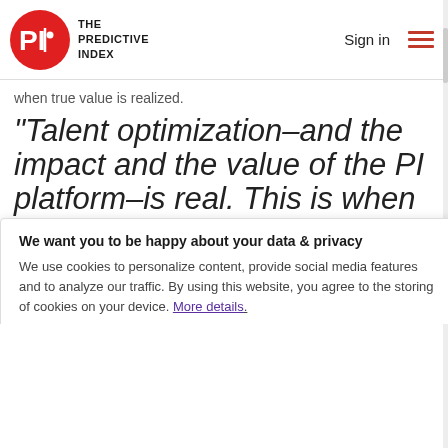[Figure (logo): The Predictive Index logo: red circle with PI text and company name]
Sign in
when true value is realized.
“Talent optimization–and the impact and the value of the PI platform–is real. This is when it becomes real”
Adapting to the pandemic
COVID-19 has thrown a wrench into the consultant-client relationship. And economic uncertainty, many companies have been forced to reduce spending. They're also facing
We want you to be happy about your data & privacy
We use cookies to personalize content, provide social media features and to analyze our traffic. By using this website, you agree to the storing of cookies on your device. More details.
I Understand